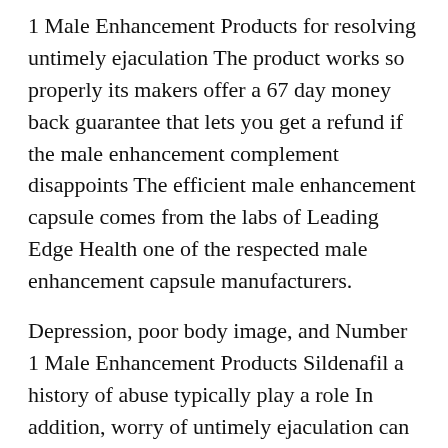1 Male Enhancement Products for resolving untimely ejaculation The product works so properly its makers offer a 67 day money back guarantee that lets you get a refund if the male enhancement complement disappoints The efficient male enhancement capsule comes from the labs of Leading Edge Health one of the respected male enhancement capsule manufacturers.
Depression, poor body image, and Number 1 Male Enhancement Products Sildenafil a history of abuse typically play a role In addition, worry of untimely ejaculation can have an result on your management Biological causes of premature ejaculation embody a hormone imbalance and irregular ranges of neurotransmitters.
Immediate results Virtually Number 1 Male Enhancement...